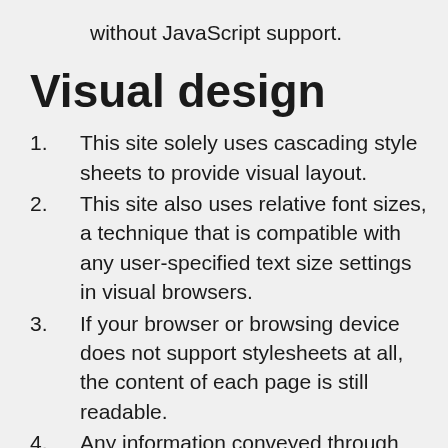without JavaScript support.
Visual design
This site solely uses cascading style sheets to provide visual layout.
This site also uses relative font sizes, a technique that is compatible with any user-specified text size settings in visual browsers.
If your browser or browsing device does not support stylesheets at all, the content of each page is still readable.
Any information conveyed through the